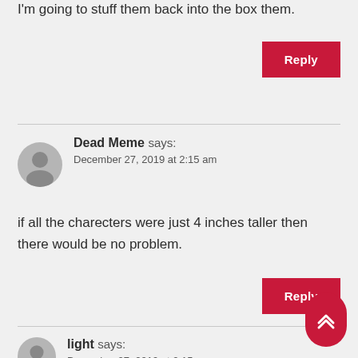I'm going to stuff them back into the box them.
Reply
Dead Meme says:
December 27, 2019 at 2:15 am
if all the charecters were just 4 inches taller then there would be no problem.
Reply
light says:
December 27, 2019 at 2:15 am